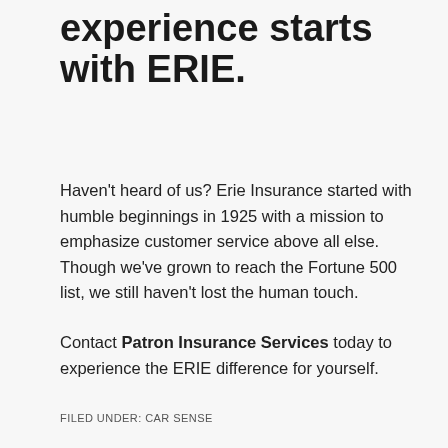experience starts with ERIE.
Haven't heard of us? Erie Insurance started with humble beginnings in 1925 with a mission to emphasize customer service above all else. Though we've grown to reach the Fortune 500 list, we still haven't lost the human touch.
Contact Patron Insurance Services today to experience the ERIE difference for yourself.
FILED UNDER: CAR SENSE